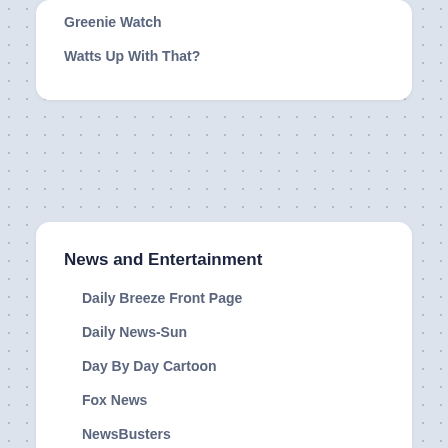Greenie Watch
Watts Up With That?
News and Entertainment
Daily Breeze Front Page
Daily News-Sun
Day By Day Cartoon
Fox News
NewsBusters
Patriot Headline Report
The Patriot Post